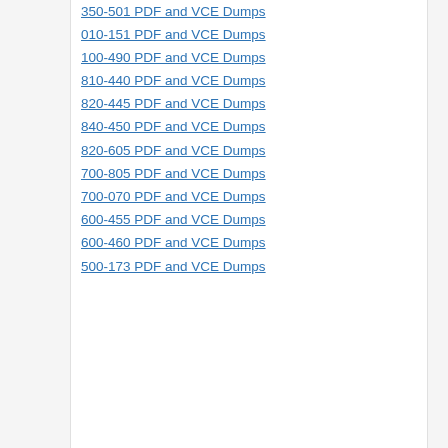350-501 PDF and VCE Dumps
010-151 PDF and VCE Dumps
100-490 PDF and VCE Dumps
810-440 PDF and VCE Dumps
820-445 PDF and VCE Dumps
840-450 PDF and VCE Dumps
820-605 PDF and VCE Dumps
700-805 PDF and VCE Dumps
700-070 PDF and VCE Dumps
600-455 PDF and VCE Dumps
600-460 PDF and VCE Dumps
500-173 PDF and VCE Dumps